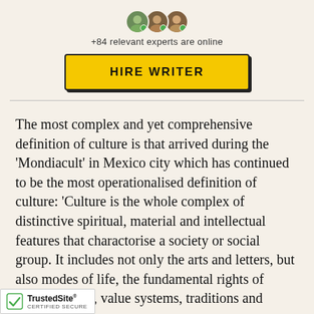[Figure (illustration): Three overlapping circular avatar photos of experts with green online indicator badges]
+84 relevant experts are online
[Figure (other): Yellow 'HIRE WRITER' button with black border and shadow]
The most complex and yet comprehensive definition of culture is that arrived during the ‘Mondiacult’ in Mexico city which has continued to be the most operationalised definition of culture: ‘Culture is the whole complex of distinctive spiritual, material and intellectual features that charactorise a society or social group. It includes not only the arts and letters, but also modes of life, the fundamental rights of human beings, value systems, traditions and
[Figure (logo): TrustedSite Certified Secure badge with green checkmark]